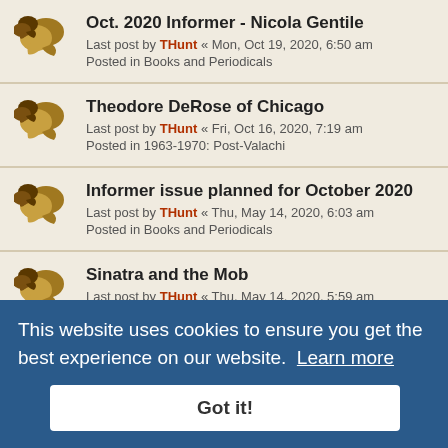Oct. 2020 Informer - Nicola Gentile
Last post by THunt « Mon, Oct 19, 2020, 6:50 am
Posted in Books and Periodicals
Theodore DeRose of Chicago
Last post by THunt « Fri, Oct 16, 2020, 7:19 am
Posted in 1963-1970: Post-Valachi
Informer issue planned for October 2020
Last post by THunt « Thu, May 14, 2020, 6:03 am
Posted in Books and Periodicals
Sinatra and the Mob
Last post by THunt « Thu, May 14, 2020, 5:59 am
Posted in 1970-1986: Modern thru Commission Trial
Mafia-Camorra conflict in 1901 Chicago?
Last post by THunt « Fri, Feb 21, 2020, 6:42 am
Murder of Joe Baker, Catania - Feb 3, 1931
Last post by THunt « ... 2020, 7:46 am
Posted in 1861-1901 ...
Gallo-Profaci War expands - 29 Jan 1962
Last post by THunt « Wed, Jan 29, 2020, 6:09 am
This website uses cookies to ensure you get the best experience on our website. Learn more
Got it!